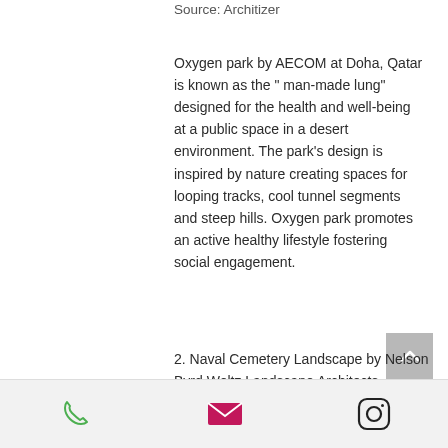Source: Architizer
Oxygen park by AECOM at Doha, Qatar is known as the " man-made lung" designed for the health and well-being at a public space in a desert environment. The park's design is inspired by nature creating spaces for looping tracks, cool tunnel segments and steep hills. Oxygen park promotes an active healthy lifestyle fostering social engagement.
2. Naval Cemetery Landscape by Nelson Byrd Woltz Landscape Architects
[Figure (other): Footer bar with phone icon (green), email icon (pink/magenta), and Instagram icon (black outline)]